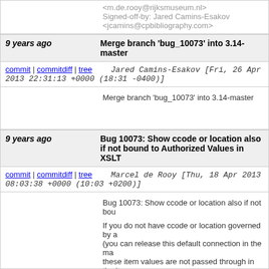<m.de.rooy@rijksmuseum.nl>
Signed-off-by: Jared Camins-Esakov <jcamins@cpbibliography.com>
9 years ago   Merge branch 'bug_10073' into 3.14-master
commit | commitdiff | tree   Jared Camins-Esakov [Fri, 26 Apr 2013 22:31:13 +0000 (18:31 -0400)]
Merge branch 'bug_10073' into 3.14-master
9 years ago   Bug 10073: Show ccode or location also if not bound to Authorized Values in XSLT
commit | commitdiff | tree   Marcel de Rooy [Thu, 18 Apr 2013 08:03:38 +0000 (10:03 +0200)]
Bug 10073: Show ccode or location also if not bou

If you do not have ccode or location governed by a (you can release this default connection in the ma these item values are not passed through in the ite created by buildKohaItemsNamespace for XSLTP.

This simple patch checks if the authorized value h location returns something and passes the origina.

Test plan:
Temporarily disconnect ccode and location from a in MARC structure.